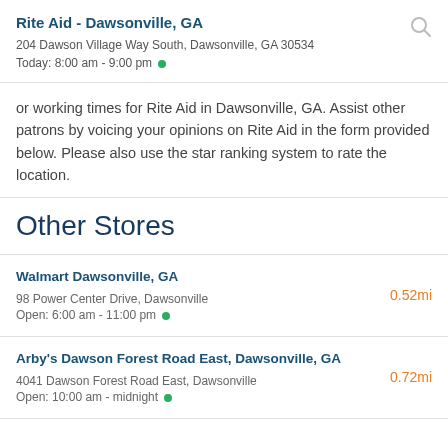Rite Aid - Dawsonville, GA
204 Dawson Village Way South, Dawsonville, GA 30534
Today: 8:00 am - 9:00 pm
or working times for Rite Aid in Dawsonville, GA. Assist other patrons by voicing your opinions on Rite Aid in the form provided below. Please also use the star ranking system to rate the location.
Other Stores
Walmart Dawsonville, GA
98 Power Center Drive, Dawsonville
Open: 6:00 am - 11:00 pm
0.52mi
Arby's Dawson Forest Road East, Dawsonville, GA
4041 Dawson Forest Road East, Dawsonville
Open: 10:00 am - midnight
0.72mi